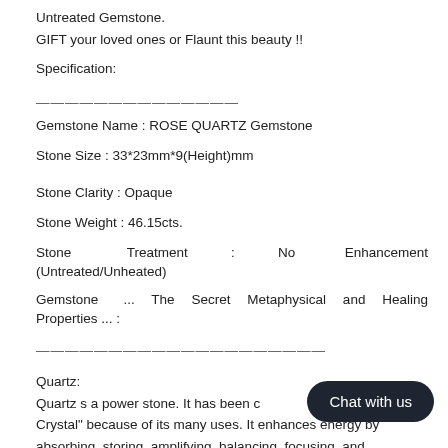Untreated Gemstone.
GIFT your loved ones or Flaunt this beauty !!
Specification:
——————————————
Gemstone Name : ROSE QUARTZ Gemstone
Stone Size : 33*23mm*9(Height)mm
Stone Clarity : Opaque
Stone Weight : 46.15cts.
Stone Treatment : No Enhancement (Untreated/Unheated)
Gemstone ... The Secret Metaphysical and Healing Properties ... :
————————————————————
Quartz:
Quartz s a power stone. It has been c al Crystal" because of its many uses. It enhances energy by absorbing, storing, amplifying, balancing, focusing, and